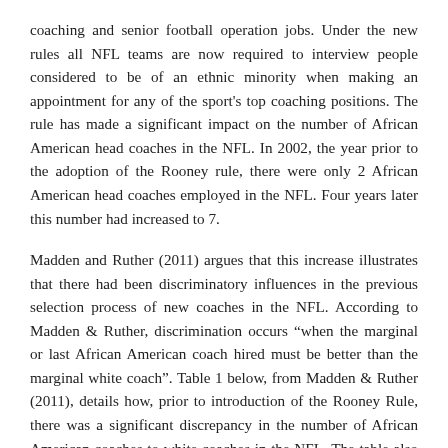coaching and senior football operation jobs. Under the new rules all NFL teams are now required to interview people considered to be of an ethnic minority when making an appointment for any of the sport's top coaching positions. The rule has made a significant impact on the number of African American head coaches in the NFL. In 2002, the year prior to the adoption of the Rooney rule, there were only 2 African American head coaches employed in the NFL. Four years later this number had increased to 7.
Madden and Ruther (2011) argues that this increase illustrates that there had been discriminatory influences in the previous selection process of new coaches in the NFL. According to Madden & Ruther, discrimination occurs “when the marginal or last African American coach hired must be better than the marginal white coach”. Table 1 below, from Madden & Ruther (2011), details how, prior to introduction of the Rooney Rule, there was a significant discrepancy in the number of African American coaches to white coaches in the NFL. The table also highlights how, prior to the rule, African American coaches enjoyed a significantly higher win rate averaging 9.1 wins a season versus 8.0 of their white counterparts. Sixty-nine percent of